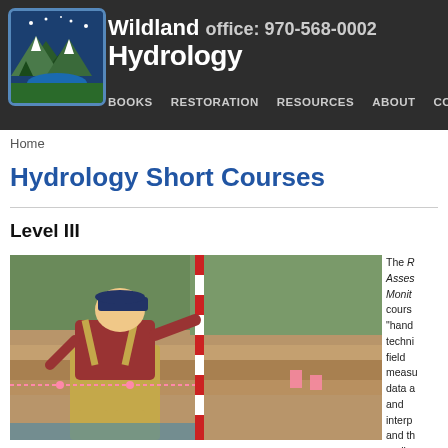Wildland Hydrology  office: 970-568-0002
BOOKS  RESTORATION  RESOURCES  ABOUT  CONT
Home
Hydrology Short Courses
Level III
[Figure (photo): A person in waders and suspenders holding a survey rod next to a stream bank cutaway, measuring sediment layers in the field.]
The R... Asses... Monito... course... "hands-... techni... field measu... data a... and interpr... and th... replica... studie...